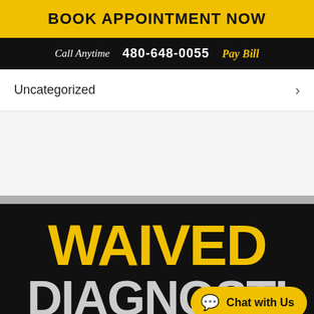BOOK APPOINTMENT NOW
Call Anytime  480-648-0055  Pay Bill
Uncategorized
[Figure (other): Promotional section with large bold text reading WAIVED DIAGNOSTIC on black background, with a yellow Chat with Us button overlay]